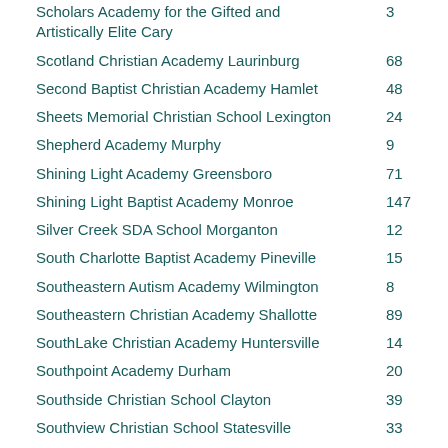| School | Number |
| --- | --- |
| Scholars Academy for the Gifted and Artistically Elite Cary | 3 |
| Scotland Christian Academy Laurinburg | 68 |
| Second Baptist Christian Academy Hamlet | 48 |
| Sheets Memorial Christian School Lexington | 24 |
| Shepherd Academy Murphy | 9 |
| Shining Light Academy Greensboro | 71 |
| Shining Light Baptist Academy Monroe | 147 |
| Silver Creek SDA School Morganton | 12 |
| South Charlotte Baptist Academy Pineville | 15 |
| Southeastern Autism Academy Wilmington | 8 |
| Southeastern Christian Academy Shallotte | 89 |
| SouthLake Christian Academy Huntersville | 14 |
| Southpoint Academy Durham | 20 |
| Southside Christian School Clayton | 39 |
| Southview Christian School Statesville | 33 |